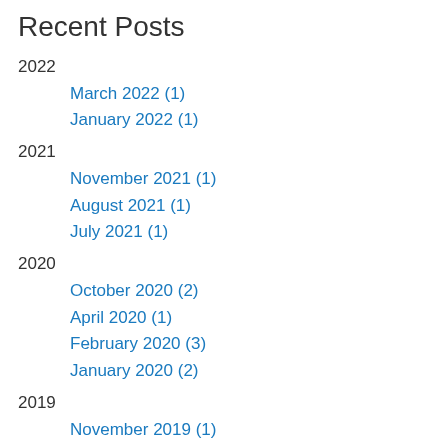Recent Posts
2022
March 2022 (1)
January 2022 (1)
2021
November 2021 (1)
August 2021 (1)
July 2021 (1)
2020
October 2020 (2)
April 2020 (1)
February 2020 (3)
January 2020 (2)
2019
November 2019 (1)
October 2019 (2)
September 2019 (1)
June 2019 (4)
May 2019 (2)